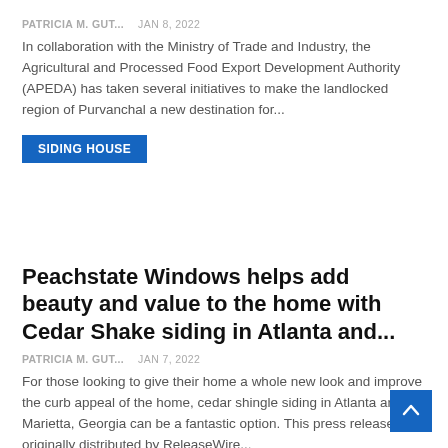PATRICIA M. GUT...  Jan 8, 2022
In collaboration with the Ministry of Trade and Industry, the Agricultural and Processed Food Export Development Authority (APEDA) has taken several initiatives to make the landlocked region of Purvanchal a new destination for...
SIDING HOUSE
Peachstate Windows helps add beauty and value to the home with Cedar Shake siding in Atlanta and...
PATRICIA M. GUT...  Jan 7, 2022
For those looking to give their home a whole new look and improve the curb appeal of the home, cedar shingle siding in Atlanta and Marietta, Georgia can be a fantastic option. This press release was originally distributed by ReleaseWire...